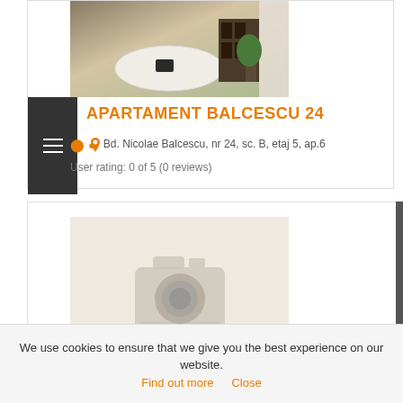[Figure (photo): Interior photo of a modern dining room with a white oval table, dark bookshelf, and plant]
APARTAMENT BALCESCU 24
Bd. Nicolae Balcescu, nr 24, sc. B, etaj 5, ap.6
User rating: 0 of 5 (0 reviews)
[Figure (photo): No image placeholder with camera icon]
We use cookies to ensure that we give you the best experience on our website.  Find out more   Close